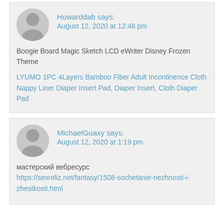Howarddab says:
August 12, 2020 at 12:48 pm
Boogie Board Magic Sketch LCD eWriter Disney Frozen Theme
LYUMO 1PC 4Layers Bamboo Fiber Adult Incontinence Cloth Nappy Liner Diaper Insert Pad, Diaper Insert, Cloth Diaper Pad
MichaelGuaxy says:
August 12, 2020 at 1:19 pm
мастерский вебресурс
https://sexreliz.net/fantasy/1508-sochetanie-nezhnosti-i-zhestkosti.html